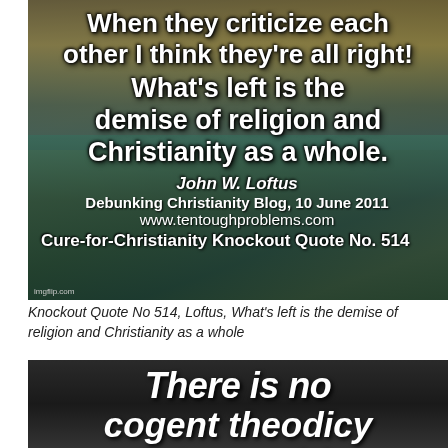[Figure (photo): Stormy sea painting background (ship in distress, waves, dramatic sky) with large white bold text overlay quoting John W. Loftus from Debunking Christianity Blog, 10 June 2011, www.tentoughproblems.com, Cure-for-Christianity Knockout Quote No. 514]
Knockout Quote No 514, Loftus, What's left is the demise of religion and Christianity as a whole
[Figure (photo): Dark background image with large bold italic white text: 'There is no cogent theodicy that can explain']